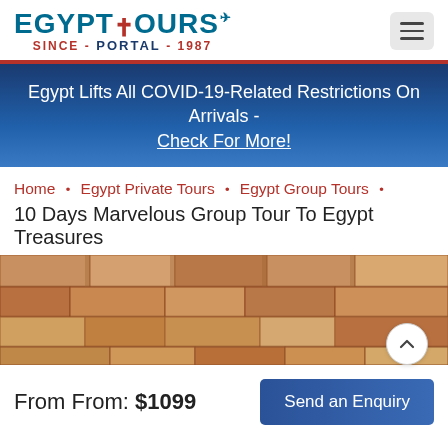[Figure (logo): Egypt Tours Portal logo with ankh symbol and airplane, teal and red color scheme, 'SINCE - PORTAL - 1987']
Egypt Lifts All COVID-19-Related Restrictions On Arrivals - Check For More!
Home • Egypt Private Tours • Egypt Group Tours •
10 Days Marvelous Group Tour To Egypt Treasures
[Figure (photo): Close-up photo of ancient stone pyramid blocks in sandy/golden brown tones]
From From: $1099
Send an Enquiry